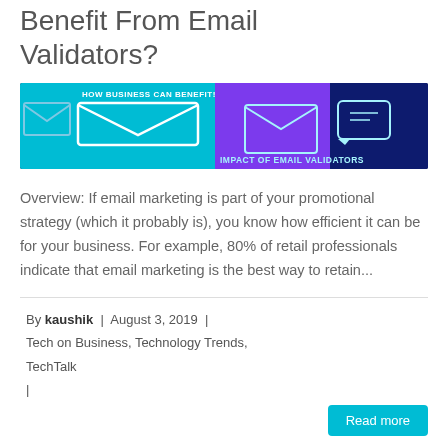Benefit From Email Validators?
[Figure (illustration): Banner image showing email validator concept with envelope icons on teal, purple and dark blue backgrounds. Text reads 'HOW BUSINESS CAN BENEFIT!' and 'IMPACT OF EMAIL VALIDATORS']
Overview: If email marketing is part of your promotional strategy (which it probably is), you know how efficient it can be for your business. For example, 80% of retail professionals indicate that email marketing is the best way to retain...
By kaushik | August 3, 2019 | Tech on Business, Technology Trends, TechTalk
|
Read more
Managed Services – Why Businesses Should